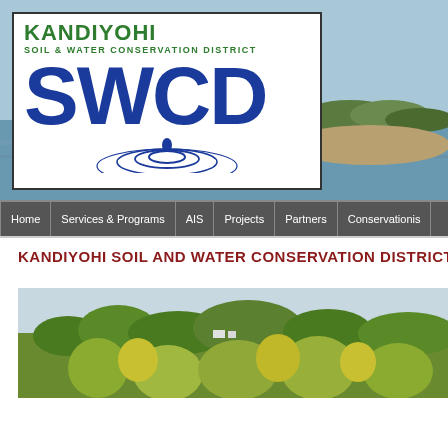[Figure (screenshot): Kandiyohi Soil and Water Conservation District website screenshot showing header banner with lake/water background, SWCD logo in white box, navigation bar, page title, and a photo of vegetation/grassland]
KANDIYOHI SOIL AND WATER CONSERVATION DISTRICT